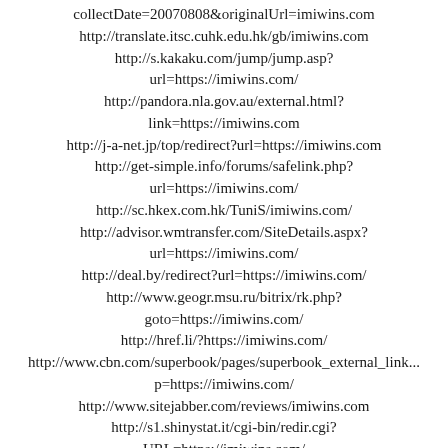collectDate=20070808&originalUrl=imiwins.com
http://translate.itsc.cuhk.edu.hk/gb/imiwins.com
http://s.kakaku.com/jump/jump.asp?
url=https://imiwins.com/
http://pandora.nla.gov.au/external.html?
link=https://imiwins.com
http://j-a-net.jp/top/redirect?url=https://imiwins.com
http://get-simple.info/forums/safelink.php?
url=https://imiwins.com/
http://sc.hkex.com.hk/TuniS/imiwins.com/
http://advisor.wmtransfer.com/SiteDetails.aspx?
url=https://imiwins.com/
http://deal.by/redirect?url=https://imiwins.com/
http://www.geogr.msu.ru/bitrix/rk.php?
goto=https://imiwins.com/
http://href.li/?https://imiwins.com/
http://www.cbn.com/superbook/pages/superbook_external_link...
p=https://imiwins.com/
http://www.sitejabber.com/reviews/imiwins.com
http://s1.shinystat.it/cgi-bin/redir.cgi?
URL=https://imiwins.com/
http://transtats.bts.gov/exit.asp?url=https://imiwins.com
http://lap.phys.auth.gr/phpinfo.php?
a%5B%5D=%3Ca+href%3Dhttps%3A%2F%2Fimiwins.com%...
http://lodserver.iula.upf.edu/describe/?